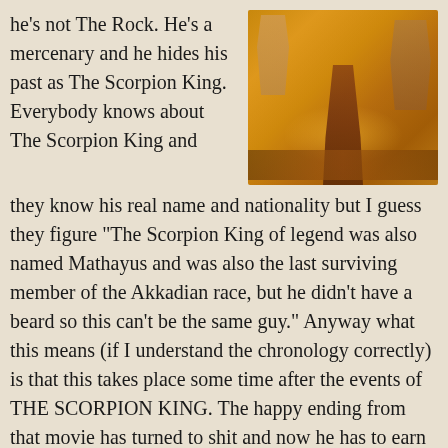he’s not The Rock. He’s a mercenary and he hides his past as The Scorpion King. Everybody knows about The Scorpion King and
[Figure (photo): Movie poster for The Scorpion King featuring golden-toned imagery with warrior figures and an army]
they know his real name and nationality but I guess they figure “The Scorpion King of legend was also named Mathayus and was also the last surviving member of the Akkadian race, but he didn’t have a beard so this can’t be the same guy.” Anyway what this means (if I understand the chronology correctly) is that this takes place some time after the events of THE SCORPION KING. The happy ending from that movie has turned to shit and now he has to earn redemption.